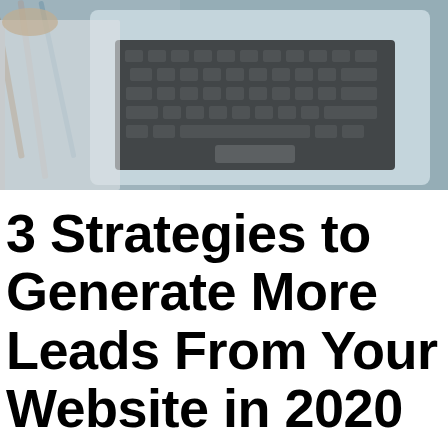[Figure (photo): A top-down photograph of an open laptop with a keyboard visible, pencils/pens resting on a notebook to the left, on a wooden desk surface. The image is blurred/bokeh style with cool blue-gray tones.]
3 Strategies to Generate More Leads From Your Website in 2020